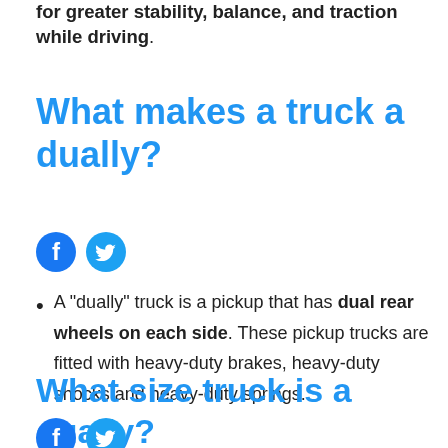for greater stability, balance, and traction while driving.
What makes a truck a dually?
[Figure (other): Facebook and Twitter social share icons]
A "dually" truck is a pickup that has dual rear wheels on each side. These pickup trucks are fitted with heavy-duty brakes, heavy-duty shocks and heavy-duty springs.
What size truck is a dually?
[Figure (other): Facebook and Twitter social share icons (partially visible)]